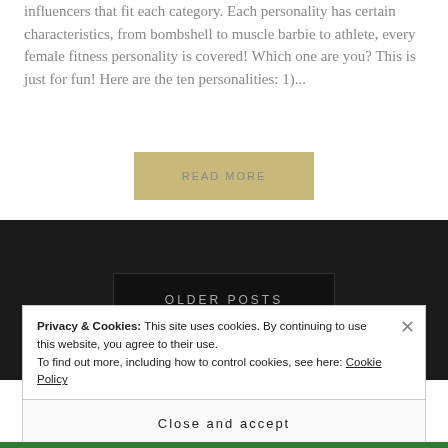influencers that fit each category. Each personality has certain characteristics, from bombshell to muscle barbie to athlete, every female fitness personality is covered! Which one are you? This is just for fun! Here are the ten personalities: 1)...
READ MORE
OLDER POSTS
Privacy & Cookies: This site uses cookies. By continuing to use this website, you agree to their use.
To find out more, including how to control cookies, see here: Cookie Policy
Close and accept